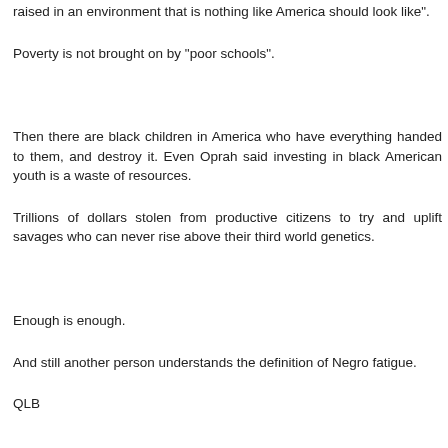raised in an environment that is nothing like America should look like".
Poverty is not brought on by "poor schools".
Then there are black children in America who have everything handed to them, and destroy it. Even Oprah said investing in black American youth is a waste of resources.
Trillions of dollars stolen from productive citizens to try and uplift savages who can never rise above their third world genetics.
Enough is enough.
And still another person understands the definition of Negro fatigue.
QLB